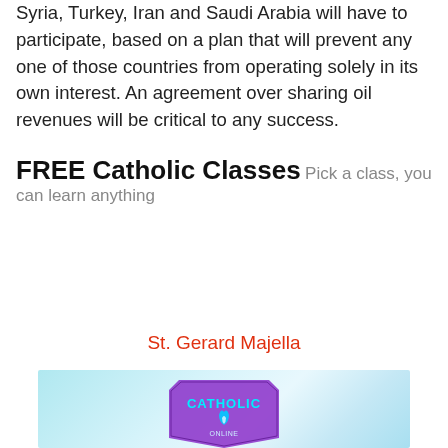Syria, Turkey, Iran and Saudi Arabia will have to participate, based on a plan that will prevent any one of those countries from operating solely in its own interest. An agreement over sharing oil revenues will be critical to any success.
FREE Catholic Classes Pick a class, you can learn anything
St. Gerard Majella
[Figure (logo): Catholic Online logo badge with CATHOLIC text and a flame/dove symbol, on a light blue gradient background]